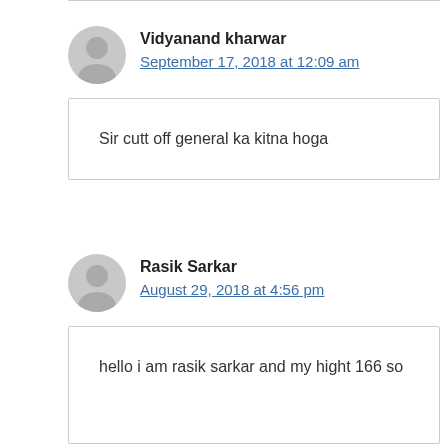Vidyanand kharwar
September 17, 2018 at 12:09 am
Sir cutt off general ka kitna hoga
Rasik Sarkar
August 29, 2018 at 4:56 pm
hello i am rasik sarkar and my hight 166 so